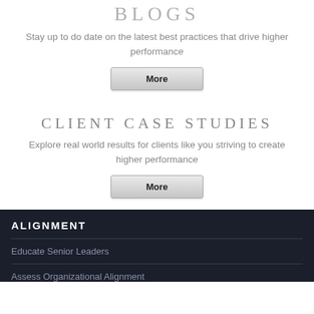BLOGS
Stay up to do date on the latest best practices that drive higher performance
[Figure (other): A grey button labeled 'More']
CLIENT CASE STUDIES
Explore real world results for clients like you striving to create higher performance
[Figure (other): A grey button labeled 'More']
ALIGNMENT
Educate Senior Leaders
Assess Organizational Alignment